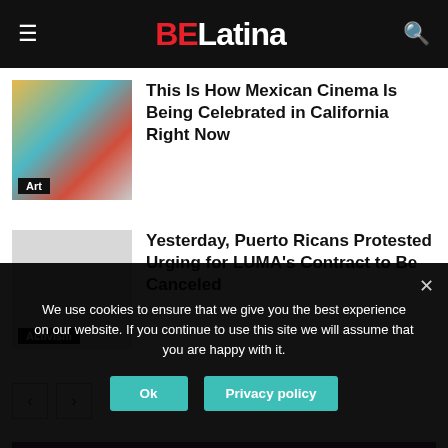BELatina
[Figure (photo): Movie poster or artwork for Mexican cinema article, with Art badge]
This Is How Mexican Cinema Is Being Celebrated in California Right Now
[Figure (photo): Image placeholder for Puerto Ricans protest article, with Activism badge]
Yesterday, Puerto Ricans Protested Urging for LUMA's Contract to Be Canceled
Noticias Newswire
We use cookies to ensure that we give you the best experience on our website. If you continue to use this site we will assume that you are happy with it.